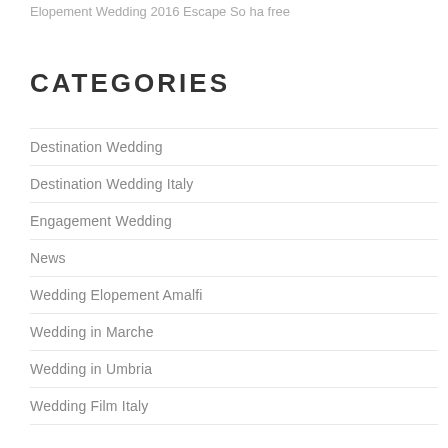Elopement Wedding 2016 Escape So ha free
CATEGORIES
Destination Wedding
Destination Wedding Italy
Engagement Wedding
News
Wedding Elopement Amalfi
Wedding in Marche
Wedding in Umbria
Wedding Film Italy